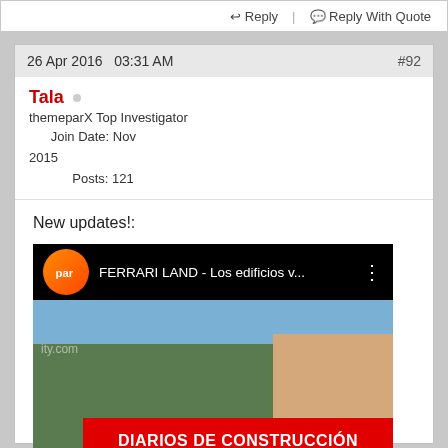↩ Reply | 💬 Reply With Quote
26 Apr 2016   03:31 AM   #92
Tala
themeparX Top Investigator
Join Date: Nov 2015
Posts: 121
New updates!:
[Figure (screenshot): YouTube video thumbnail for 'FERRARI LAND - Los edificios v...' with channel logo (PAR - orange circle) on black top bar and construction site image below with red banner reading 'DIARIOS DE CONSTRUCCIÓN']